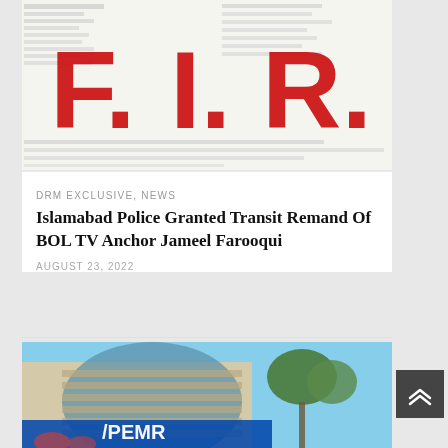[Figure (illustration): FIR document image with large red block letters F.I.R. overlaid on a document with handwritten/printed text in Urdu/Hindi script]
DRM EXCLUSIVE, NEWS
Islamabad Police Granted Transit Remand Of BOL TV Anchor Jameel Farooqui
AUGUST 23, 2022
[Figure (photo): Exterior photo of a modern curved glass office building with trees, and a PEMRA sign/logo visible at the bottom]